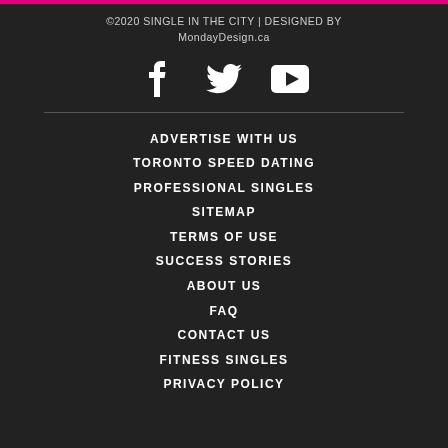©2020 SINGLE IN THE CITY | DESIGNED BY MondayDesign.ca
[Figure (other): Social media icons: Facebook, Twitter, YouTube]
ADVERTISE WITH US
TORONTO SPEED DATING
PROFESSIONAL SINGLES
SITEMAP
TERMS OF USE
SUCCESS STORIES
ABOUT US
FAQ
CONTACT US
FITNESS SINGLES
PRIVACY POLICY